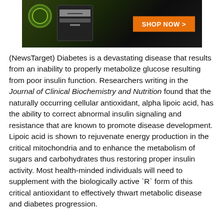[Figure (photo): Advertisement banner showing a dark product package with cannabis/hemp imagery, a certification seal, barcode, and an orange 'SHOP NOW >' button on a dark background.]
(NewsTarget) Diabetes is a devastating disease that results from an inability to properly metabolize glucose resulting from poor insulin function. Researchers writing in the Journal of Clinical Biochemistry and Nutrition found that the naturally occurring cellular antioxidant, alpha lipoic acid, has the ability to correct abnormal insulin signaling and resistance that are known to promote disease development. Lipoic acid is shown to rejuvenate energy production in the critical mitochondria and to enhance the metabolism of sugars and carbohydrates thus restoring proper insulin activity. Most health-minded individuals will need to supplement with the biologically active `R` form of this critical antioxidant to effectively thwart metabolic disease and diabetes progression.